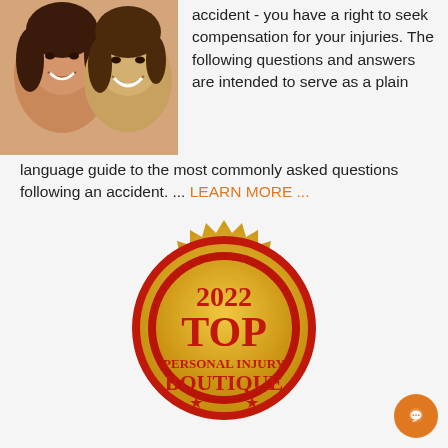[Figure (photo): Photo of two smiling women, one adult and one younger, close together]
accident - you have a right to seek compensation for your injuries. The following questions and answers are intended to serve as a plain language guide to the most commonly asked questions following an accident. ... LEARN MORE ...
[Figure (logo): Canadian Lawyer Magazine 2022 Top Personal Injury Boutique gold seal badge with red text and decorative border]